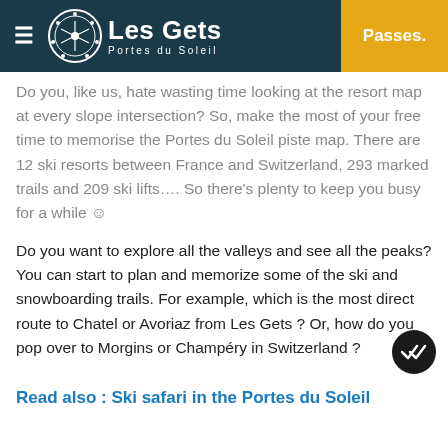Les Gets – Portes du Soleil | Passes.
Do you, like us, hate wasting time looking at the resort map at every slope intersection? So, make the most of your free time to memorise the Portes du Soleil piste map. There are 12 ski resorts between France and Switzerland, 293 marked trails and 209 ski lifts…. So there's plenty to keep you busy for a while ☺
Do you want to explore all the valleys and see all the peaks? You can start to plan and memorize some of the ski and snowboarding trails. For example, which is the most direct route to Chatel or Avoriaz from Les Gets ? Or, how do you pop over to Morgins or Champéry in Switzerland ?
Read also : Ski safari in the Portes du Soleil